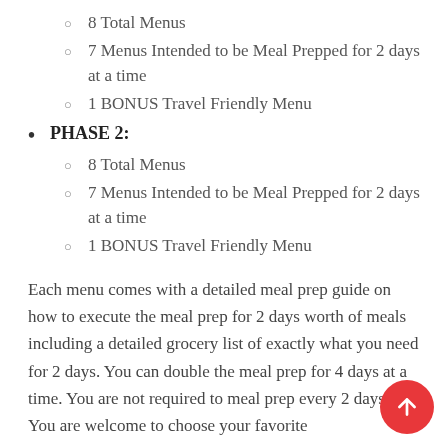8 Total Menus
7 Menus Intended to be Meal Prepped for 2 days at a time
1 BONUS Travel Friendly Menu
PHASE 2:
8 Total Menus
7 Menus Intended to be Meal Prepped for 2 days at a time
1 BONUS Travel Friendly Menu
Each menu comes with a detailed meal prep guide on how to execute the meal prep for 2 days worth of meals including a detailed grocery list of exactly what you need for 2 days. You can double the meal prep for 4 days at a time. You are not required to meal prep every 2 days. You are welcome to choose your favorite